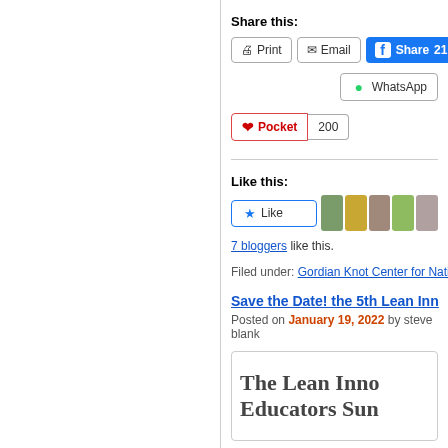Share this:
Print | Email | Share 210
WhatsApp
Pocket 200
Like this:
Like
7 bloggers like this.
Filed under: Gordian Knot Center for National S
Save the Date! the 5th Lean Inn
Posted on January 19, 2022 by steve blank
[Figure (screenshot): Article box with large text: The Lean Inno Educators Sum]